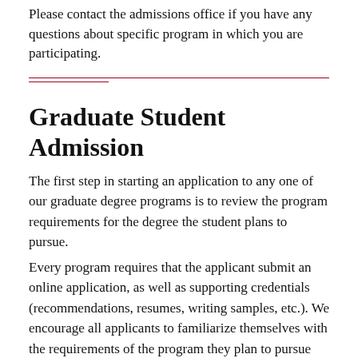Please contact the admissions office if you have any questions about specific program in which you are participating.
Graduate Student Admission
The first step in starting an application to any one of our graduate degree programs is to review the program requirements for the degree the student plans to pursue. Every program requires that the applicant submit an online application, as well as supporting credentials (recommendations, resumes, writing samples, etc.). We encourage all applicants to familiarize themselves with the requirements of the program they plan to pursue prior to starting their online application. Applicants should visit the